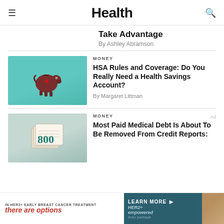Health
Take Advantage
By Ashley Abramson
[Figure (photo): Piggy bank with medical cross symbol on teal background]
MONEY
HSA Rules and Coverage: Do You Really Need a Health Savings Account?
By Margaret Littman
[Figure (photo): Credit report / financial document showing 800 credit score on light teal background]
MONEY
Most Paid Medical Debt Is About To Be Removed From Credit Reports:
[Figure (other): Advertisement banner: IN HER2+ EARLY BREAST CANCER TREATMENT - there are options - LEARN MORE > HER2+ empowered - Actor portrayal]